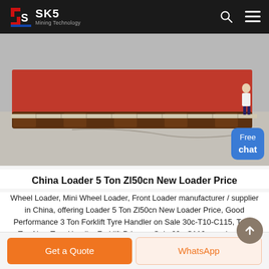SKS Mining Technology
[Figure (photo): Photo of a China Loader 5 Ton ZL50cn product — a large red and brown loader/scraper machine on a concrete surface, with a small person figure visible on the right side.]
China Loader 5 Ton Zl50cn New Loader Price
Wheel Loader, Mini Wheel Loader, Front Loader manufacturer / supplier in China, offering Loader 5 Ton Zl50cn New Loader Price, Good Performance 3 Ton Forklift Tyre Handler on Sale 30c-T10-C115, Top 2 Ton New Tyre Handler Forklift Price on Sale 20c-C110rn and so on.
Get a Quote | WhatsApp